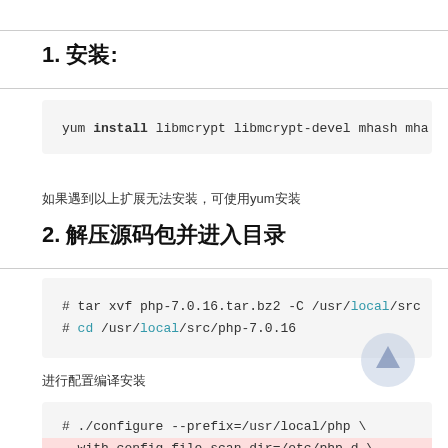1. 安装:
yum install libmcrypt libmcrypt-devel mhash mha
如果遇到以上扩展无法安装，可使用yum安装
2. 解压源码包并进入目录
# tar xvf php-7.0.16.tar.bz2 -C /usr/local/src
# cd /usr/local/src/php-7.0.16
进行配置编译安装
# ./configure --prefix=/usr/local/php \
--with-config-file-scan-dir=/etc/php.d \